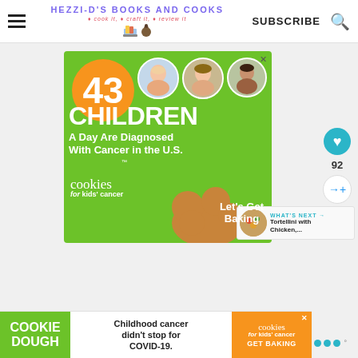HEZZI-D'S BOOKS AND COOKS | SUBSCRIBE
[Figure (infographic): Advertisement for Cookies for Kids' Cancer: green background with orange circle showing '43', three children's circular photos, text '43 CHILDREN A Day Are Diagnosed With Cancer in the U.S.', cookies for kids' cancer logo, 'Let's Get Baking' text, cookie shape illustration]
[Figure (infographic): Bottom banner ad: COOKIE DOUGH text on green, 'Childhood cancer didn't stop for COVID-19.' text, cookies for kids cancer logo in orange with GET BAKING text, close X button]